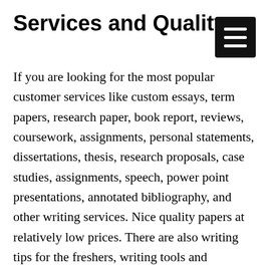Services and Quality
If you are looking for the most popular customer services like custom essays, term papers, research paper, book report, reviews, coursework, assignments, personal statements, dissertations, thesis, research proposals, case studies, assignments, speech, power point presentations, annotated bibliography, and other writing services. Nice quality papers at relatively low prices. There are also writing tips for the freshers, writing tools and guidelines, tutorials and many interesting features for both theoretical and practical help to the students. Traditionally, the order processing peculiarities are as follows: you submit the info on the web, get the e-mail, pay for the paper and get the order accomplished in a set time frame. The minimal order is 275+ words / page, any citation style APA, MLA, Chicago/Turabian, Harvard, etc.